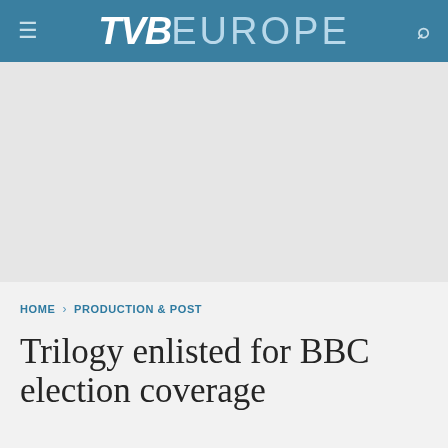TVB EUROPE
[Figure (other): Advertisement banner area, blank/grey]
HOME › PRODUCTION & POST
Trilogy enlisted for BBC election coverage